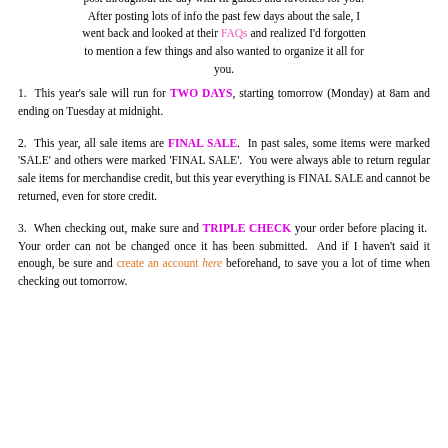jumping on the computer to shop the sale and updating my post throughout the day with fit guides and favorites for you! After posting lots of info the past few days about the sale, I went back and looked at their FAQs and realized I'd forgotten to mention a few things and also wanted to organize it all for you.
1. This year's sale will run for TWO DAYS, starting tomorrow (Monday) at 8am and ending on Tuesday at midnight.
2. This year, all sale items are FINAL SALE. In past sales, some items were marked 'SALE' and others were marked 'FINAL SALE'. You were always able to return regular sale items for merchandise credit, but this year everything is FINAL SALE and cannot be returned, even for store credit.
3. When checking out, make sure and TRIPLE CHECK your order before placing it. Your order can not be changed once it has been submitted. And if I haven't said it enough, be sure and create an account here beforehand, to save you a lot of time when checking out tomorrow.